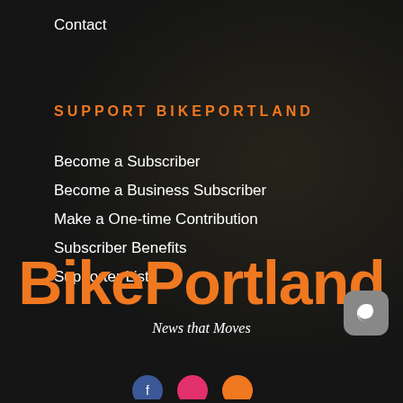Contact
SUPPORT BIKEPORTLAND
Become a Subscriber
Become a Business Subscriber
Make a One-time Contribution
Subscriber Benefits
Supporter List
BikePortland
News that Moves
[Figure (logo): Dark mode toggle button - moon icon on grey rounded square background]
[Figure (illustration): Social media icons row at bottom of page (blue, pink, orange circles partially visible)]